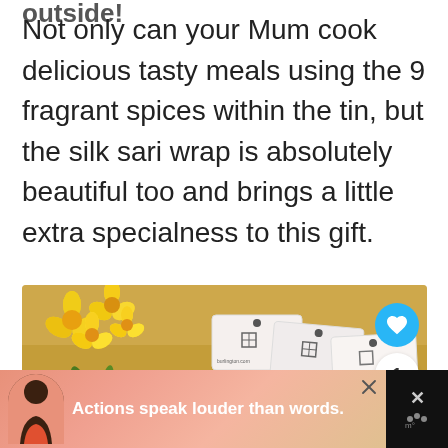Not only can your Mum cook delicious tasty meals using the 9 fragrant spices within the tin, but the silk sari wrap is absolutely beautiful too and brings a little extra specialness to this gift.
[Figure (photo): Photo of socks with tags and yellow daffodil flowers on a wooden surface, with a heart button, number 1, and share button overlay on the right side.]
[Figure (screenshot): Ad banner at the bottom showing a person and text 'Actions speak louder than words.' with close and dismiss buttons.]